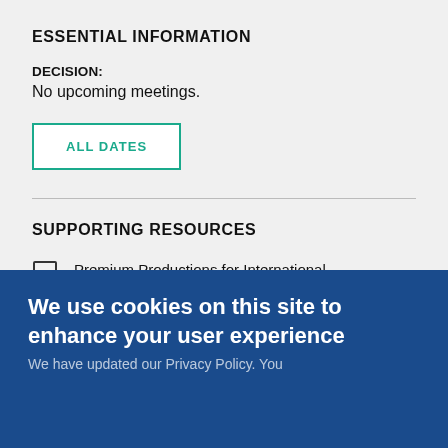ESSENTIAL INFORMATION
DECISION: No upcoming meetings.
ALL DATES
SUPPORTING RESOURCES
Premium Productions for International Audiences Fund (Te Puna Kairangi Premium
We use cookies on this site to enhance your user experience
We have updated our Privacy Policy. You